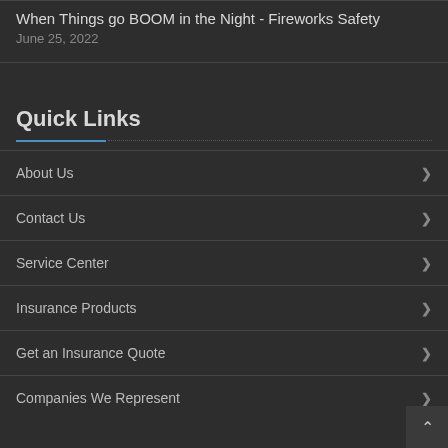When Things go BOOM in the Night - Fireworks Safety
June 25, 2022
Quick Links
About Us
Contact Us
Service Center
Insurance Products
Get an Insurance Quote
Companies We Represent